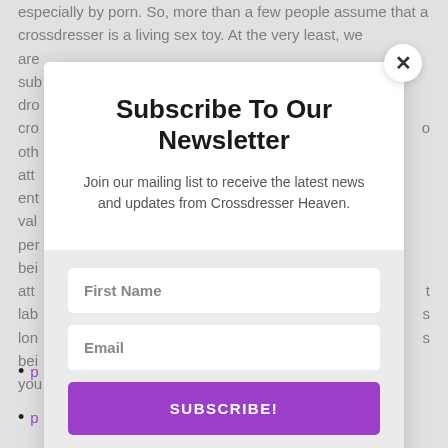especially by porn. So, more than a few people assume that a crossdresser is a living sex toy. At the very least, we are sub dro cro oth att ent val per bei att lab lon bei you
[Figure (screenshot): Newsletter subscription modal popup with title 'Subscribe To Our Newsletter', subtitle 'Join our mailing list to receive the latest news and updates from Crossdresser Heaven.', First Name input field, Email input field, purple SUBSCRIBE! button, and spam disclaimer text 'We hate spam too, unsubscribe at any time.']
p
p